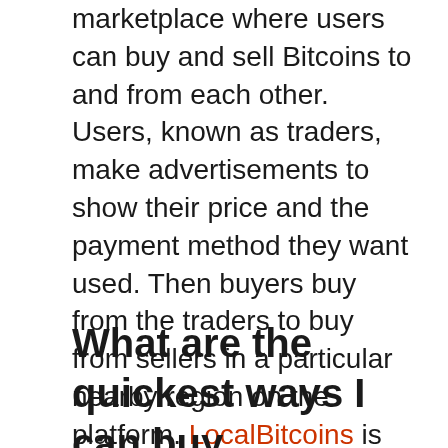marketplace where users can buy and sell Bitcoins to and from each other. Users, known as traders, make advertisements to show their price and the payment method they want used. Then buyers buy from the traders to buy from sellers in a particular nearby region on the platform. LocalBitcoins is after all a good place to go to buy Bitcoins when it is impossible for you to find your favorite payment methods somewhere else. The site's prices are high and you have you have to be extra careful to avoid conmen.
What are the quickest ways I can buy LavaSwap while living in Europe?